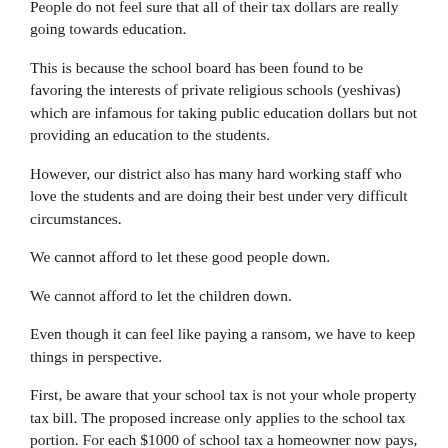People do not feel sure that all of their tax dollars are really going towards education.
This is because the school board has been found to be favoring the interests of private religious schools (yeshivas) which are infamous for taking public education dollars but not providing an education to the students.
However, our district also has many hard working staff who love the students and are doing their best under very difficult circumstances.
We cannot afford to let these good people down.
We cannot afford to let the children down.
Even though it can feel like paying a ransom, we have to keep things in perspective.
First, be aware that your school tax is not your whole property tax bill. The proposed increase only applies to the school tax portion. For each $1000 of school tax a homeowner now pays, there will be only $28.90 additional per year. That's about $2.41 per month.
Second, even though there is still a lot of mistrust, one thing we do know for sure is that a failed budget will cause suffering